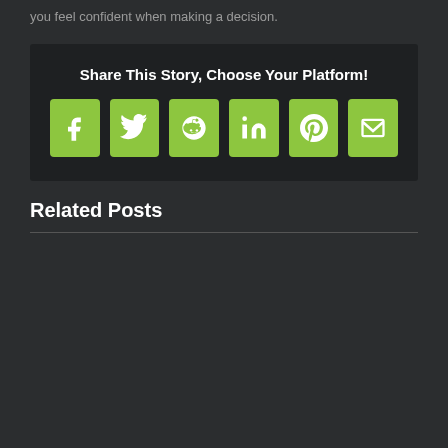you feel confident when making a decision.
[Figure (infographic): Share This Story, Choose Your Platform! with social media icon buttons: Facebook, Twitter, Reddit, LinkedIn, Pinterest, Email — all with green background.]
Related Posts